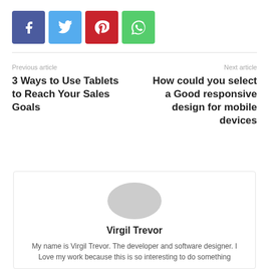[Figure (other): Social share buttons: Facebook (purple), Twitter (blue), Pinterest (red), WhatsApp (green)]
Previous article
3 Ways to Use Tablets to Reach Your Sales Goals
Next article
How could you select a Good responsive design for mobile devices
Virgil Trevor
My name is Virgil Trevor. The developer and software designer. I Love my work because this is so interesting to do something